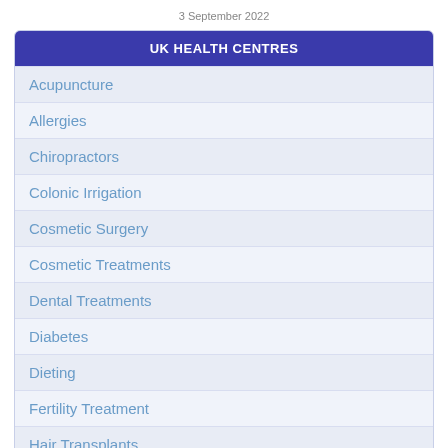3 September 2022
UK HEALTH CENTRES
Acupuncture
Allergies
Chiropractors
Colonic Irrigation
Cosmetic Surgery
Cosmetic Treatments
Dental Treatments
Diabetes
Dieting
Fertility Treatment
Hair Transplants
Harley Street